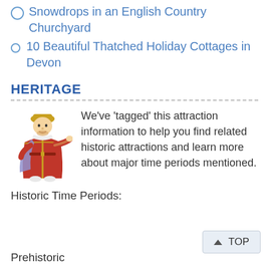Snowdrops in an English Country Churchyard
10 Beautiful Thatched Holiday Cottages in Devon
HERITAGE
[Figure (illustration): Cartoon illustration of a medieval king or nobleman in red robes pointing to the right]
We've 'tagged' this attraction information to help you find related historic attractions and learn more about major time periods mentioned.
Historic Time Periods:
Prehistoric